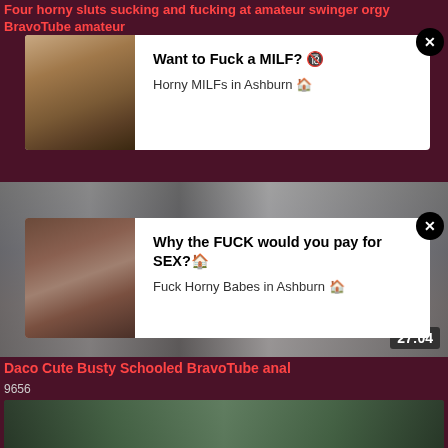Four horny sluts sucking and fucking at amateur swinger orgy BravoTube amateur
[Figure (screenshot): Ad overlay 1 with thumbnail of woman in lingerie with pearl necklace and ad text about meeting MILFs]
[Figure (screenshot): Ad overlay 2 with thumbnail of dark-haired woman and ad text about sex]
[Figure (screenshot): Video thumbnail showing scene with duration badge 27:04]
Daco Cute Busty Schooled BravoTube anal
9656
[Figure (screenshot): Bottom video thumbnail showing indoor scene with plants]